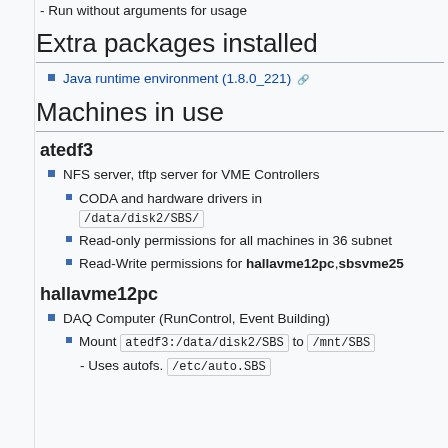- Run without arguments for usage
Extra packages installed
Java runtime environment (1.8.0_221) [external link]
Machines in use
atedf3
NFS server, tftp server for VME Controllers
CODA and hardware drivers in /data/disk2/SBS/
Read-only permissions for all machines in 36 subnet
Read-Write permissions for hallavme12pc,sbsvme25
hallavme12pc
DAQ Computer (RunControl, Event Building)
Mount atedf3:/data/disk2/SBS to /mnt/SBS
- Uses autofs. /etc/auto.SBS